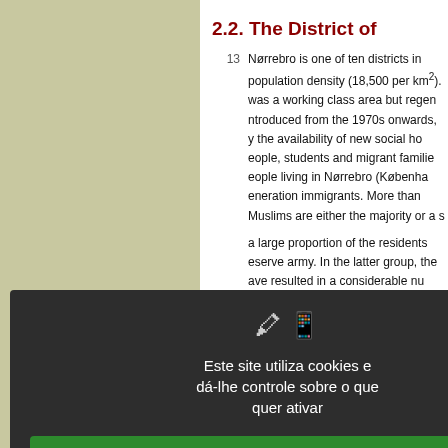2.2. The District of
Nørrebro is one of ten districts in... population density (18,500 per km²)... was a working class area but regen... introduced from the 1970s onwards,... by the availability of new social ho... people, students and migrant familie... people living in Nørrebro (Københ... generation immigrants. More than... Muslims are either the majority or a s...
A large proportion of the residents... reserve army. In the latter group, the... have resulted in a considerable nu... social benefits and immigrants, falling... izeable group of students and other... f the district which belong to the... olitics. In the last municipal electio... Democrats) received 67% of the... ncreasing social fragmentation, inclu... losely corresponds to Wacquant's (1...
Este site utiliza cookies e dá-lhe controle sobre o que quer ativar
✓ OK, aceitar tudo
✗ Proibe todos cookies
Personalizar
Política de Privacidade